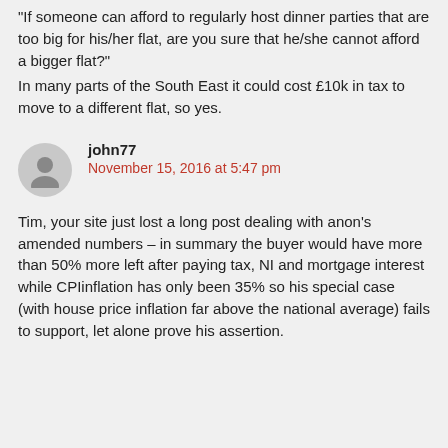@john77
“If someone can afford to regularly host dinner parties that are too big for his/her flat, are you sure that he/she cannot afford a bigger flat?”
In many parts of the South East it could cost £10k in tax to move to a different flat, so yes.
john77
November 15, 2016 at 5:47 pm
Tim, your site just lost a long post dealing with anon’s amended numbers – in summary the buyer would have more than 50% more left after paying tax, NI and mortgage interest while CPIinflation has only been 35% so his special case (with house price inflation far above the national average) fails to support, let alone prove his assertion.